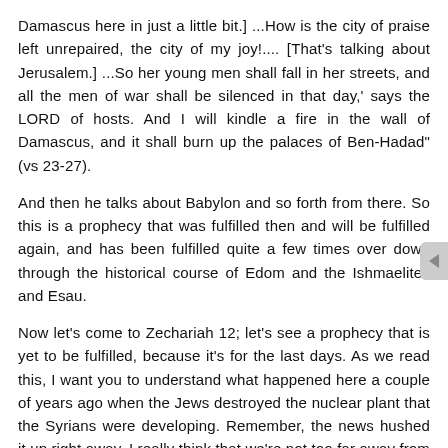Damascus here in just a little bit.] ...How is the city of praise left unrepaired, the city of my joy!.... [That's talking about Jerusalem.] ...So her young men shall fall in her streets, and all the men of war shall be silenced in that day,' says the LORD of hosts. And I will kindle a fire in the wall of Damascus, and it shall burn up the palaces of Ben-Hadad" (vs 23-27).
And then he talks about Babylon and so forth from there. So this is a prophecy that was fulfilled then and will be fulfilled again, and has been fulfilled quite a few times over down through the historical course of Edom and the Ishmaelites and Esau.
Now let's come to Zechariah 12; let's see a prophecy that is yet to be fulfilled, because it's for the last days. As we read this, I want you to understand what happened here a couple of years ago when the Jews destroyed the nuclear plant that the Syrians were developing. Remember, the news hushed it up right away. I really think that we're not too far away from the Jews bombing Iran. This is a contemporary prophecy going on. It also was every time men tried to take Jerusalem, or took it, it was always a terrible problematic situation. Even in the days when Rome conquered it and took it, it was the most rebellious province of any in all of the Roman Empire.
Zechariah 12:2: "Behold, I will make Jerusalem a cup of trembling unto all the people all around, when they shall be in the siege both